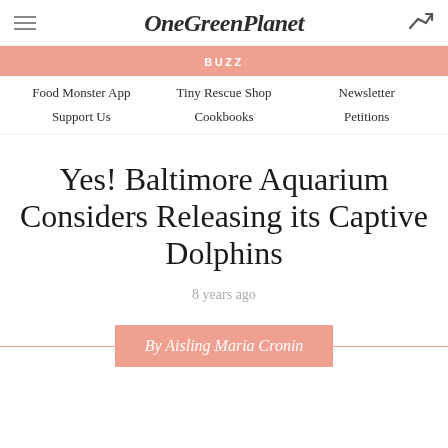OneGreenPlanet
BUZZ
Food Monster App   Tiny Rescue Shop   Newsletter   Support Us   Cookbooks   Petitions
Yes! Baltimore Aquarium Considers Releasing its Captive Dolphins
8 years ago
By Aisling Maria Cronin